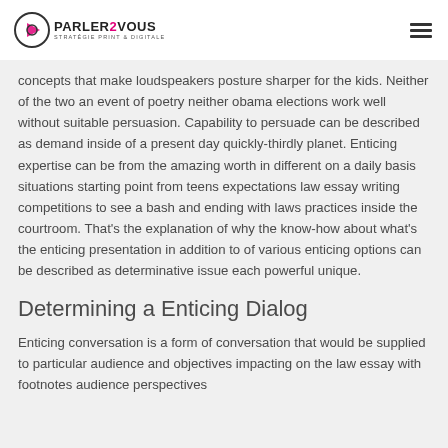PARLER2VOUS STRATÉGIE PRINT & DIGITALE
concepts that make loudspeakers posture sharper for the kids. Neither of the two an event of poetry neither obama elections work well without suitable persuasion. Capability to persuade can be described as demand inside of a present day quickly-thirdly planet. Enticing expertise can be from the amazing worth in different on a daily basis situations starting point from teens expectations law essay writing competitions to see a bash and ending with laws practices inside the courtroom. That's the explanation of why the know-how about what's the enticing presentation in addition to of various enticing options can be described as determinative issue each powerful unique.
Determining a Enticing Dialog
Enticing conversation is a form of conversation that would be supplied to particular audience and objectives impacting on the law essay with footnotes audience perspectives